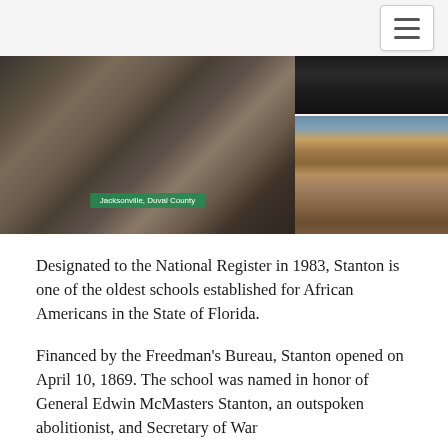[Navigation bar with hamburger menu]
[Figure (photo): Black and white historical group photo of African American men and women standing in front of a building, with caption overlay reading 'Jacksonville, Duval County']
[Figure (photo): Top right: dark/night historical photo. Bottom right: color photo of a brick school building with flagpole and iron fence, blue sky background.]
Designated to the National Register in 1983, Stanton is one of the oldest schools established for African Americans in the State of Florida.
Financed by the Freedman's Bureau, Stanton opened on April 10, 1869. The school was named in honor of General Edwin McMasters Stanton, an outspoken abolitionist, and Secretary of War